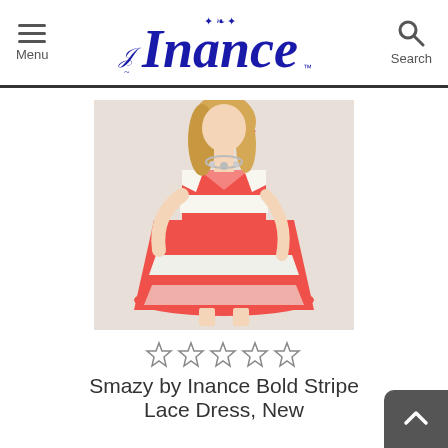Menu | Inance | Search
[Figure (photo): A woman wearing a coral/pink and white bold horizontal stripe lace skater dress with spaghetti straps and a V-neckline, accessorized with a statement necklace.]
☆☆☆☆☆
Smazy by Inance Bold Stripe Lace Dress, New